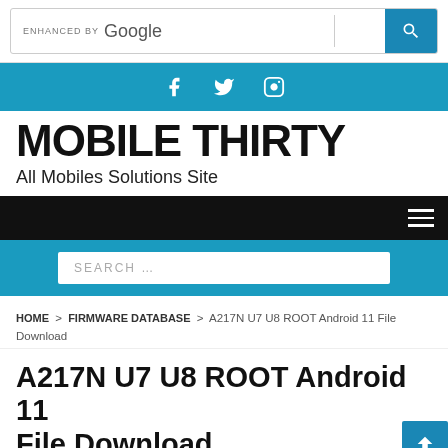[Figure (screenshot): Google custom search bar with blue search button]
[Figure (infographic): Teal social media bar with Facebook, Twitter, and Instagram icons]
MOBILE THIRTY
All Mobiles Solutions Site
[Figure (screenshot): Black navigation bar with hamburger menu icon on right]
[Figure (screenshot): Teal search bar area with SEARCH placeholder text]
HOME > FIRMWARE DATABASE > A217N U7 U8 ROOT Android 11 File Download
A217N U7 U8 ROOT Android 11 File Download